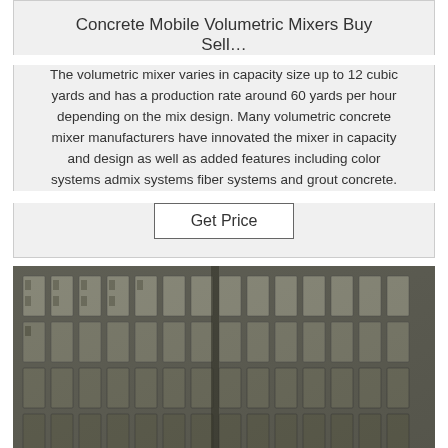Concrete Mobile Volumetric Mixers Buy Sell…
The volumetric mixer varies in capacity size up to 12 cubic yards and has a production rate around 60 yards per hour depending on the mix design. Many volumetric concrete mixer manufacturers have innovated the mixer in capacity and design as well as added features including color systems admix systems fiber systems and grout concrete.
Get Price
[Figure (photo): Photograph of rows of grey concrete mold components or precast concrete pieces arranged in a grid pattern, viewed from above at an angle.]